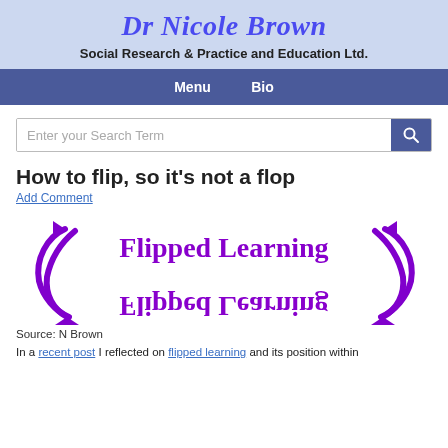Dr Nicole Brown
Social Research & Practice and Education Ltd.
Menu   Bio
Enter your Search Term
How to flip, so it's not a flop
Add Comment
[Figure (illustration): Circular arrows around text 'Flipped Learning' displayed twice — once normal and once upside-down — in purple, depicting the concept of flipped learning.]
Source: N Brown
In a recent post I reflected on flipped learning and its position within